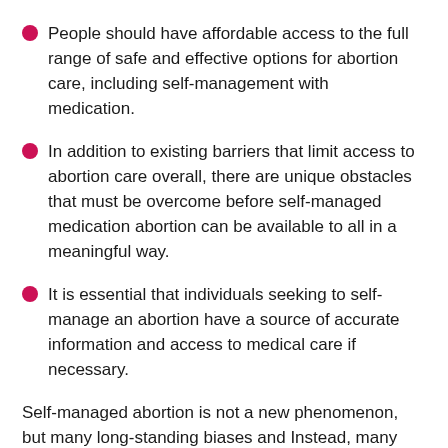People should have affordable access to the full range of safe and effective options for abortion care, including self-management with medication.
In addition to existing barriers that limit access to abortion care overall, there are unique obstacles that must be overcome before self-managed medication abortion can be available to all in a meaningful way.
It is essential that individuals seeking to self-manage an abortion have a source of accurate information and access to medical care if necessary.
Self-managed abortion is not a new phenomenon, but many long-standing biases and Instead, many forward-looking thinkers—including providers,